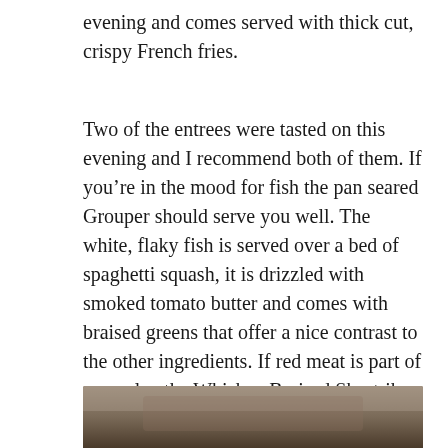evening and comes served with thick cut, crispy French fries.
Two of the entrees were tasted on this evening and I recommend both of them. If you’re in the mood for fish the pan seared Grouper should serve you well. The white, flaky fish is served over a bed of spaghetti squash, it is drizzled with smoked tomato butter and comes with braised greens that offer a nice contrast to the other ingredients. If red meat is part of your plan the Whiskey Braised Shortribs is not to be missed. Placed atop a pile of white cheddar and chive mashed potatoes, it comes with spinach from local farmers markets, an oven roasted tomato and its own juices pour over it. Tender and flavorful the meat is very good.
[Figure (photo): Partial view of a food photograph, bottom portion of page, showing a dark brownish/grey surface, likely a dish or food item.]